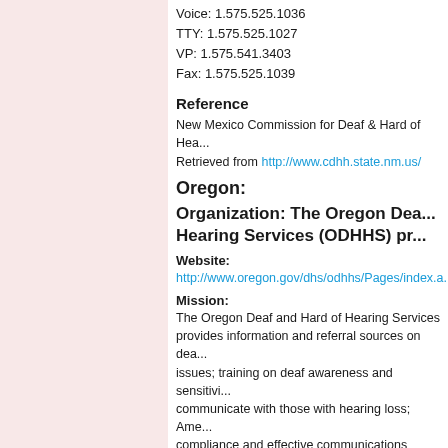Voice: 1.575.525.1036
TTY: 1.575.525.1027
VP: 1.575.541.3403
Fax: 1.575.525.1039
Reference
New Mexico Commission for Deaf & Hard of Hearing. Retrieved from http://www.cdhh.state.nm.us/
Oregon:
Organization: The Oregon Deaf and Hard of Hearing Services (ODHHS) pro...
Website:
http://www.oregon.gov/dhs/odhhs/Pages/index.a...
Mission:
The Oregon Deaf and Hard of Hearing Services provides information and referral sources on deaf issues; training on deaf awareness and sensitivity, communicate with those with hearing loss; ADA compliance and effective communications coord...
Services to the Deaf and Hard of Hearing:
Monitors and coordinates the provision of sign language, real-time captioners and assistive listening services communication services, particularly real-time ca... through education, feedback, recruitment, monit...